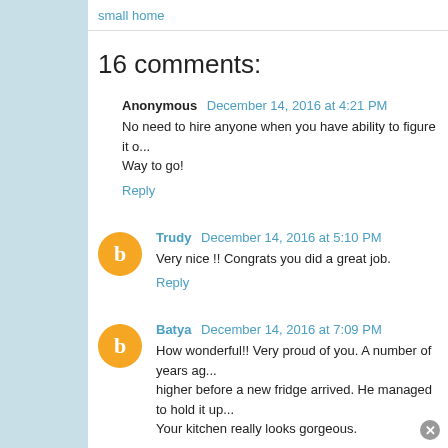small home
16 comments:
Anonymous  December 14, 2016 at 4:21 PM
No need to hire anyone when you have ability to figure it o... Way to go!
Reply
Trudy  December 14, 2016 at 5:10 PM
Very nice !! Congrats you did a great job.
Reply
Batya  December 14, 2016 at 7:09 PM
How wonderful!! Very proud of you. A number of years ag... higher before a new fridge arrived. He managed to hold it up... Your kitchen really looks gorgeous.
Reply